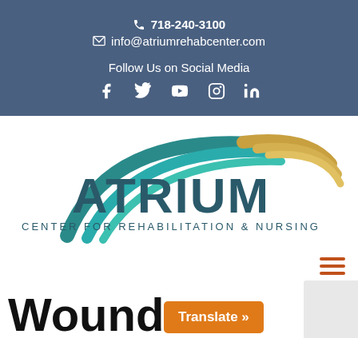718-240-3100 | info@atriumrehabcenter.com | Follow Us on Social Media | Facebook Twitter YouTube Instagram LinkedIn
[Figure (logo): Atrium Center for Rehabilitation & Nursing logo with teal and gold curved swoosh design]
Wound